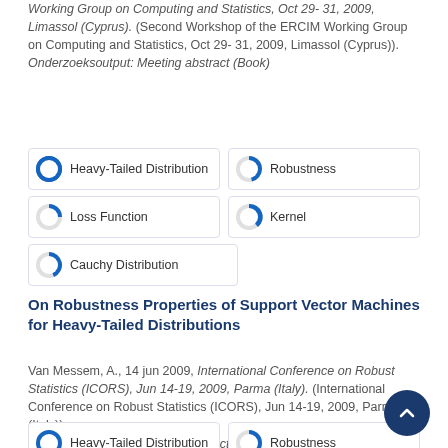Working Group on Computing and Statistics, Oct 29- 31, 2009, Limassol (Cyprus). (Second Workshop of the ERCIM Working Group on Computing and Statistics, Oct 29- 31, 2009, Limassol (Cyprus)).
Onderzoeksoutput: Meeting abstract (Book)
Heavy-Tailed Distribution
Robustness
Loss Function
Kernel
Cauchy Distribution
On Robustness Properties of Support Vector Machines for Heavy-Tailed Distributions
Van Messem, A., 14 jun 2009, International Conference on Robust Statistics (ICORS), Jun 14-19, 2009, Parma (Italy). (International Conference on Robust Statistics (ICORS), Jun 14-19, 2009, Parma (Italy)).
Onderzoeksoutput: Meeting abstract (Book)
Heavy-Tailed Distribution
Robustness